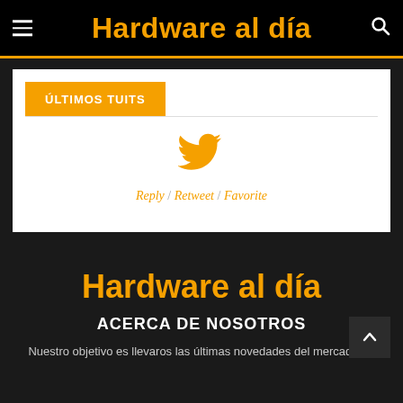Hardware al día
ÚLTIMOS TUITS
[Figure (illustration): Twitter bird icon in orange, with Reply / Retweet / Favorite links below]
Hardware al día
ACERCA DE NOSOTROS
Nuestro objetivo es llevaros las últimas novedades del mercado en